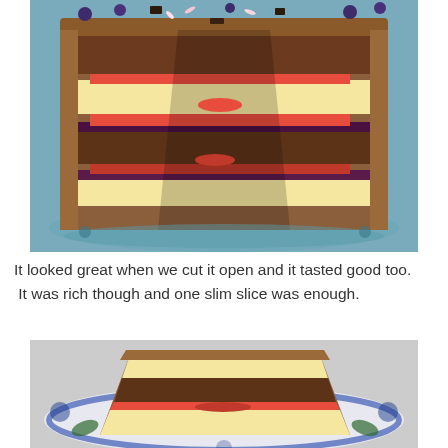[Figure (photo): A large layered cake cut open showing alternating chocolate and vanilla sponge layers with strawberries and berry filling, covered in chocolate frosting and topped with blueberries and sprinkles, sitting on a blue floral plate]
It looked great when we cut it open and it tasted good too. It was rich though and one slim slice was enough.
[Figure (photo): A slice of the layered cake on a blue and white floral plate, showing the chocolate and vanilla layers with strawberry filling]